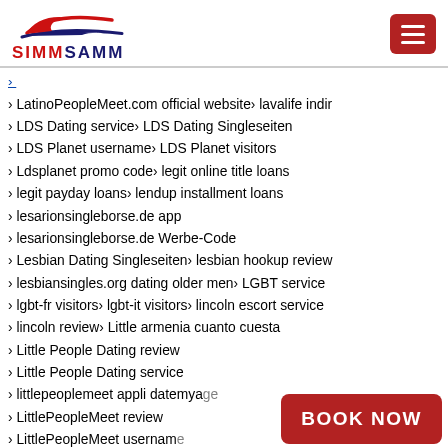SIMMSAMM
LatinoPeopleMeet.com official website › lavalife indir
LDS Dating service › LDS Dating Singleseiten
LDS Planet username › LDS Planet visitors
Ldsplanet promo code › legit online title loans
legit payday loans › lendup installment loans
lesarionsingleborse.de app
lesarionsingleborse.de Werbe-Code
Lesbian Dating Singleseiten › lesbian hookup review
lesbiansingles.org dating older men › LGBT service
lgbt-fr visitors › lgbt-it visitors › lincoln escort service
lincoln review › Little armenia cuanto cuesta
Little People Dating review
Little People Dating service
littlepeoplemeet appli datemyage
LittlePeopleMeet review
LittlePeopleMeet username